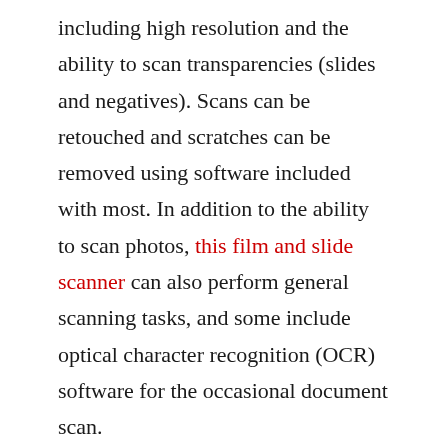including high resolution and the ability to scan transparencies (slides and negatives). Scans can be retouched and scratches can be removed using software included with most. In addition to the ability to scan photos, this film and slide scanner can also perform general scanning tasks, and some include optical character recognition (OCR) software for the occasional document scan.
Cleaning Kit
The importance of keeping your lenses clean cannot be overstated. Dust and other particles are released as soon as you take your camera out of its bag. I've already mentioned how easy it is for